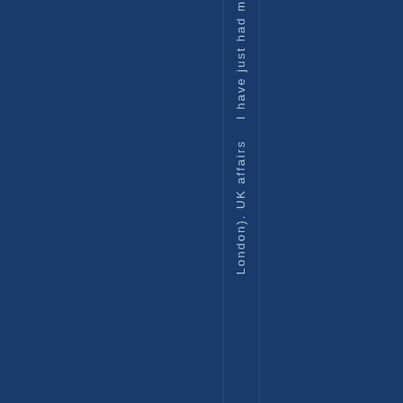London). UK affairs I have just had m